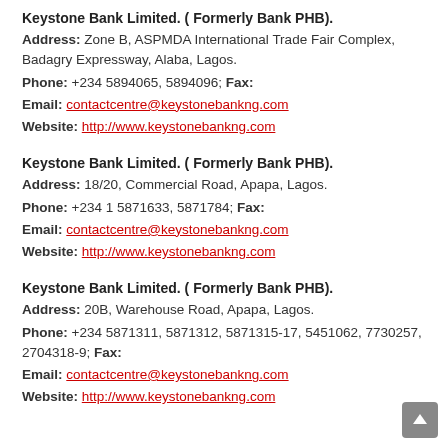Keystone Bank Limited. ( Formerly Bank PHB).
Address: Zone B, ASPMDA International Trade Fair Complex, Badagry Expressway, Alaba, Lagos.
Phone: +234 5894065, 5894096; Fax:
Email: contactcentre@keystonebankng.com
Website: http://www.keystonebankng.com
Keystone Bank Limited. ( Formerly Bank PHB).
Address: 18/20, Commercial Road, Apapa, Lagos.
Phone: +234 1 5871633, 5871784; Fax:
Email: contactcentre@keystonebankng.com
Website: http://www.keystonebankng.com
Keystone Bank Limited. ( Formerly Bank PHB).
Address: 20B, Warehouse Road, Apapa, Lagos.
Phone: +234 5871311, 5871312, 5871315-17, 5451062, 7730257, 2704318-9; Fax:
Email: contactcentre@keystonebankng.com
Website: http://www.keystonebankng.com